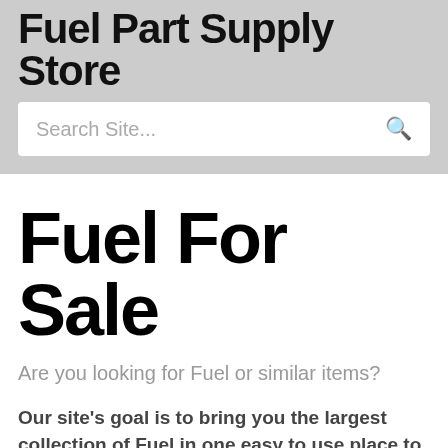Fuel Part Supply Store
[Figure (screenshot): Search bar with placeholder text 'Search Site...' and a search icon on the right]
Fuel For Sale
Are you looking for Fuel or similar items?
Our site's goal is to bring you the largest collection of Fuel in one easy to use place to